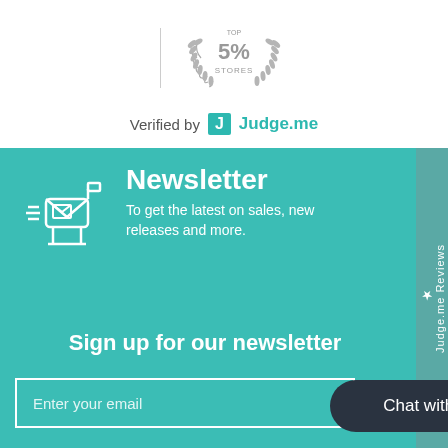[Figure (logo): Badge with laurel wreath showing 'TOP 5% STORES' in gray, with a vertical divider line to the left]
Verified by Judge.me
[Figure (illustration): Teal newsletter section with mailbox icon, Newsletter heading, subtitle, sign up heading, email input field, and Chat with us button. Side tab reads '★ Judge.me Reviews']
Newsletter
To get the latest on sales, new releases and more.
Sign up for our newsletter
Enter your email
Chat with us